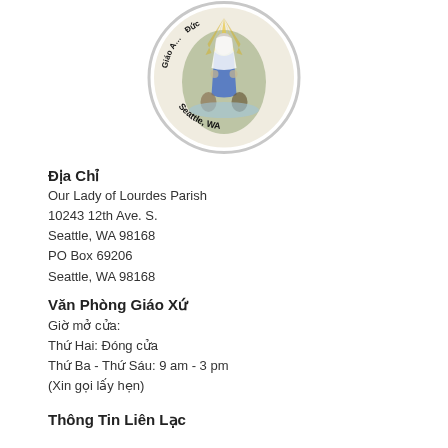[Figure (logo): Circular parish logo with an image of Our Lady of Lourdes and text 'Giáo ... Đức' around the top and 'Seattle, WA' around the bottom.]
Địa Chỉ
Our Lady of Lourdes Parish
10243 12th Ave. S.
Seattle, WA 98168
PO Box 69206
Seattle, WA 98168
Văn Phòng Giáo Xứ
Giờ mở cửa:
Thứ Hai: Đóng cửa
Thứ Ba - Thứ Sáu: 9 am - 3 pm
(Xin gọi lấy hẹn)
Thông Tin Liên Lạc